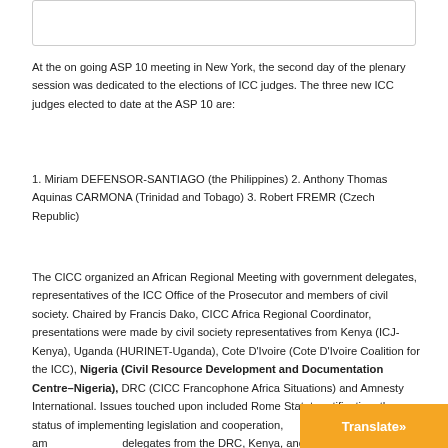At the on going ASP 10 meeting in New York, the second day of the plenary session was dedicated to the elections of ICC judges. The three new ICC judges elected to date at the ASP 10 are:
1. Miriam DEFENSOR-SANTIAGO (the Philippines) 2. Anthony Thomas Aquinas CARMONA (Trinidad and Tobago) 3. Robert FREMR (Czech Republic)
The CICC organized an African Regional Meeting with government delegates, representatives of the ICC Office of the Prosecutor and members of civil society. Chaired by Francis Dako, CICC Africa Regional Coordinator, presentations were made by civil society representatives from Kenya (ICJ-Kenya), Uganda (HURINET-Uganda), Cote D'Ivoire (Cote D'Ivoire Coalition for the ICC), Nigeria (Civil Resource Development and Documentation Centre–Nigeria), DRC (CICC Francophone Africa Situations) and Amnesty International. Issues touched upon included Rome Statute ratification, the status of implementing legislation and cooperation, am... delegates from the DRC, Kenya, and Liberia also made...